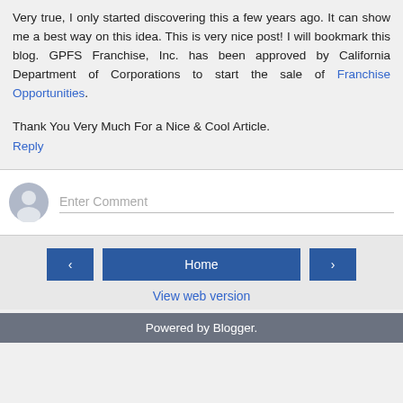Very true, I only started discovering this a few years ago. It can show me a best way on this idea. This is very nice post! I will bookmark this blog. GPFS Franchise, Inc. has been approved by California Department of Corporations to start the sale of Franchise Opportunities.
Thank You Very Much For a Nice & Cool Article.
Reply
[Figure (other): Comment input box with avatar icon and placeholder text 'Enter Comment']
[Figure (other): Navigation bar with left arrow button, Home button, and right arrow button]
View web version
Powered by Blogger.